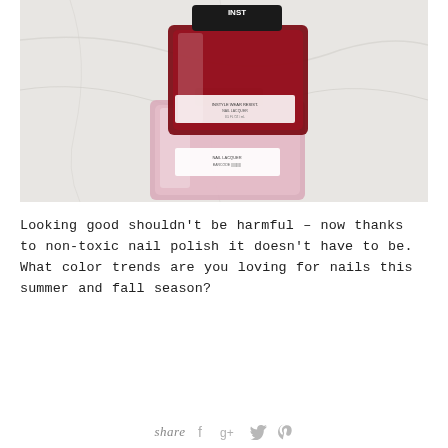[Figure (photo): Two nail polish bottles stacked on a marble surface — a dark red/crimson bottle on top labeled 'INSTYLE' and a light pink/mauve bottle beneath it. The bottles are square-shaped glass with black caps.]
Looking good shouldn't be harmful – now thanks to non-toxic nail polish it doesn't have to be. What color trends are you loving for nails this summer and fall season?
share